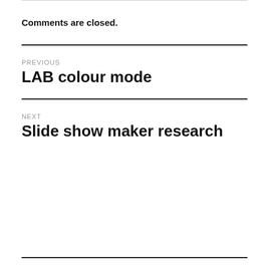Comments are closed.
PREVIOUS
LAB colour mode
NEXT
Slide show maker research